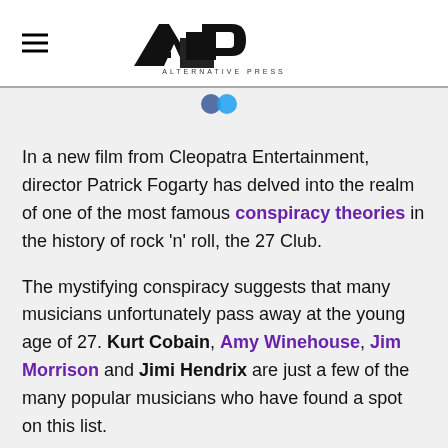AP Alternative Press
In a new film from Cleopatra Entertainment, director Patrick Fogarty has delved into the realm of one of the most famous conspiracy theories in the history of rock 'n' roll, the 27 Club.
The mystifying conspiracy suggests that many musicians unfortunately pass away at the young age of 27. Kurt Cobain, Amy Winehouse, Jim Morrison and Jimi Hendrix are just a few of the many popular musicians who have found a spot on this list.
Read m